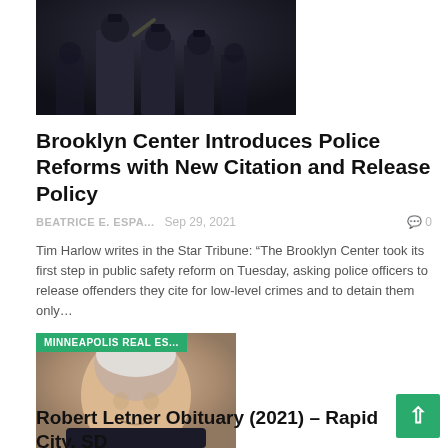[Figure (photo): Police officers in riot gear standing at night, one holding a baton]
Brooklyn Center Introduces Police Reforms with New Citation and Release Policy
BEATRICE E. ESPA...   Sep 29, 2021   💬 0
Tim Harlow writes in the Star Tribune: “The Brooklyn Center took its first step in public safety reform on Tuesday, asking police officers to release offenders they cite for low-level crimes and to detain them only...
[Figure (photo): Elderly man with white hair smiling, with a green MINNEAPOLIS REAL ES... banner overlay]
Robert Letner Obituary (2021) – Rapid City, SD